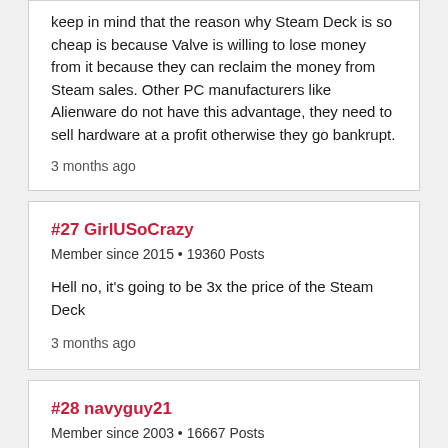keep in mind that the reason why Steam Deck is so cheap is because Valve is willing to lose money from it because they can reclaim the money from Steam sales. Other PC manufacturers like Alienware do not have this advantage, they need to sell hardware at a profit otherwise they go bankrupt.
3 months ago
#27 GirlUSoCrazy
Member since 2015 • 19360 Posts
Hell no, it's going to be 3x the price of the Steam Deck
3 months ago
#28 navyguy21
Member since 2003 • 16667 Posts